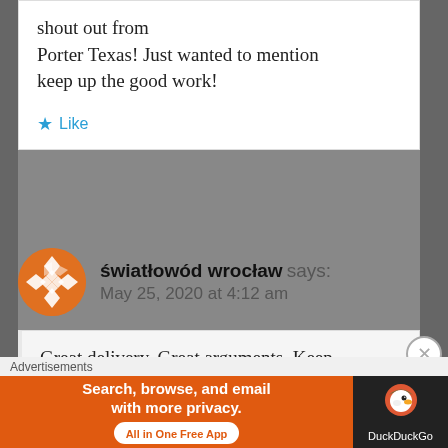shout out from Porter Texas! Just wanted to mention keep up the good work!
Like
światłowód wrocław says:
May 25, 2020 at 4:12 am
Great delivery. Great arguments. Keep up the amazing work.
Like
Advertisements
Search, browse, and email with more privacy. All in One Free App
[Figure (logo): DuckDuckGo logo with duck icon and text]